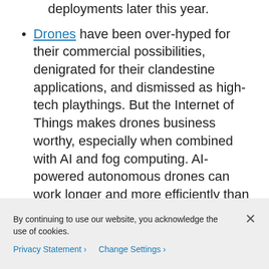deployments later this year.
Drones have been over-hyped for their commercial possibilities, denigrated for their clandestine applications, and dismissed as high-tech playthings. But the Internet of Things makes drones business worthy, especially when combined with AI and fog computing. AI-powered autonomous drones can work longer and more efficiently than piloted drones. They can choose the most efficient flight path...
By continuing to use our website, you acknowledge the use of cookies.
Privacy Statement > Change Settings >